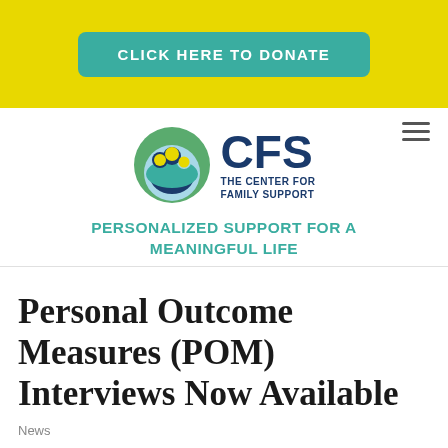CLICK HERE TO DONATE
[Figure (logo): CFS – The Center for Family Support logo with circular icon of stylized figures in green, blue, and yellow]
PERSONALIZED SUPPORT FOR A MEANINGFUL LIFE
Personal Outcome Measures (POM) Interviews Now Available
News